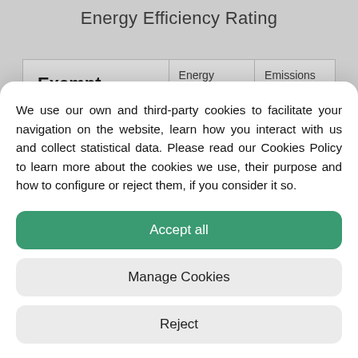Energy Efficiency Rating
|  | Energy Consumption | Emissions Kg CO2/m2 |
| --- | --- | --- |
| Exempt |  |  |
We use our own and third-party cookies to facilitate your navigation on the website, learn how you interact with us and collect statistical data. Please read our Cookies Policy to learn more about the cookies we use, their purpose and how to configure or reject them, if you consider it so.
Accept all
Manage Cookies
Reject